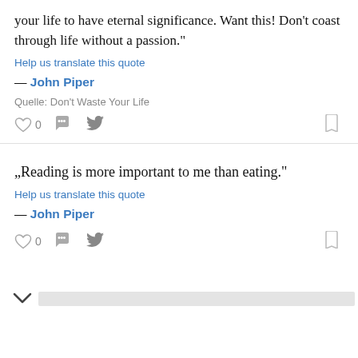your life to have eternal significance. Want this! Don’t coast through life without a passion.”
Help us translate this quote
— John Piper
Quelle: Don't Waste Your Life
„Reading is more important to me than eating.”
Help us translate this quote
— John Piper